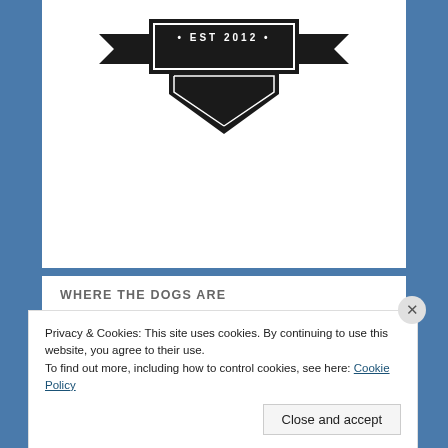[Figure (logo): EST 2012 shield/badge logo in black with banner ribbons and diamond shape]
WHERE THE DOGS ARE
[Figure (map): Google Maps screenshot showing Connecticut, Massachusetts including cities Worcester, Boston, Springfield, Hartford, Providence, and Rhode Island. Has 'View larger map' button overlay.]
Advertisements
Privacy & Cookies: This site uses cookies. By continuing to use this website, you agree to their use.
To find out more, including how to control cookies, see here: Cookie Policy
Close and accept